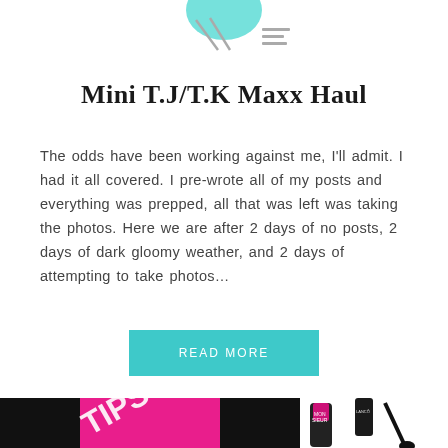[Figure (photo): Partial top image showing a teal/mint colored object and small icons on white background]
Mini T.J/T.K Maxx Haul
The odds have been working against me, I'll admit. I had it all covered. I pre-wrote all of my posts and everything was prepped, all that was left was taking the photos. Here we are after 2 days of no posts, 2 days of dark gloomy weather, and 2 days of attempting to take photos…
READ MORE
[Figure (photo): Bottom portion showing beauty products including Lancôme Monsieur Big mascara and a black and pink cosmetics pouch with bold text]